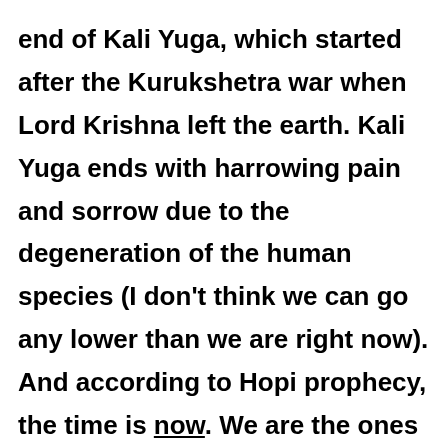end of Kali Yuga, which started after the Kurukshetra war when Lord Krishna left the earth. Kali Yuga ends with harrowing pain and sorrow due to the degeneration of the human species (I don't think we can go any lower than we are right now). And according to Hopi prophecy, the time is now. We are the ones we have been waiting for.